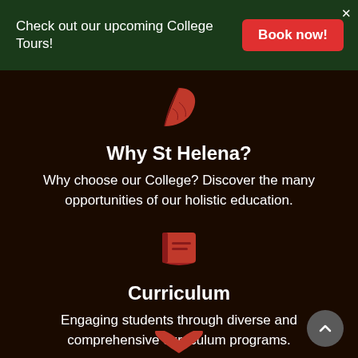Check out our upcoming College Tours!
Book now!
[Figure (illustration): Red leaf icon]
Why St Helena?
Why choose our College? Discover the many opportunities of our holistic education.
[Figure (illustration): Red book/notebook icon]
Curriculum
Engaging students through diverse and comprehensive curriculum programs.
[Figure (illustration): Partial red heart icon visible at bottom]